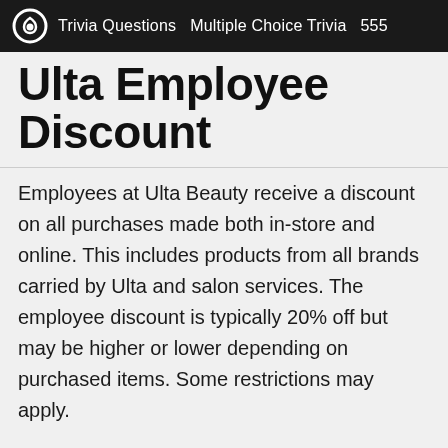Trivia Questions  Multiple Choice Trivia  555
Ulta Employee Discount
Employees at Ulta Beauty receive a discount on all purchases made both in-store and online. This includes products from all brands carried by Ulta and salon services. The employee discount is typically 20% off but may be higher or lower depending on purchased items. Some restrictions may apply.